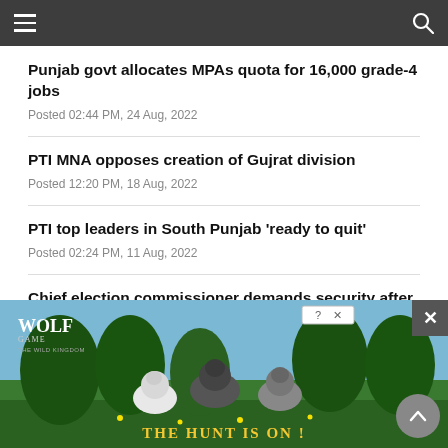Navigation header with menu and search icons
Punjab govt allocates MPAs quota for 16,000 grade-4 jobs
Posted 02:44 PM, 24 Aug, 2022
PTI MNA opposes creation of Gujrat division
Posted 12:20 PM, 18 Aug, 2022
PTI top leaders in South Punjab ‘ready to quit’
Posted 02:24 PM, 11 Aug, 2022
Chief election commissioner demands security after PTI verdict
Posted
[Figure (photo): Wolf Game advertisement showing wolves in a forest with text 'THE HUNT IS ON!']